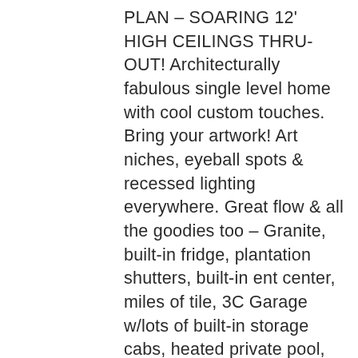PLAN – SOARING 12' HIGH CEILINGS THRU-OUT! Architecturally fabulous single level home with cool custom touches. Bring your artwork! Art niches, eyeball spots & recessed lighting everywhere. Great flow & all the goodies too – Granite, built-in fridge, plantation shutters, built-in ent center, miles of tile, 3C Garage w/lots of built-in storage cabs, heated private pool, elec window coverings, Jacuzzi tub, 3 baths, tons of windows – Light & Bright! Lush landscaping + front yard is beautifully maintained by the assoc. Could be 4 Bdrm – 2nd Bedroom is HUGE. Also, 2 guest casitas avail for your guests for only S60/night! NOT A SHORT SALE or REO or a FLIP!